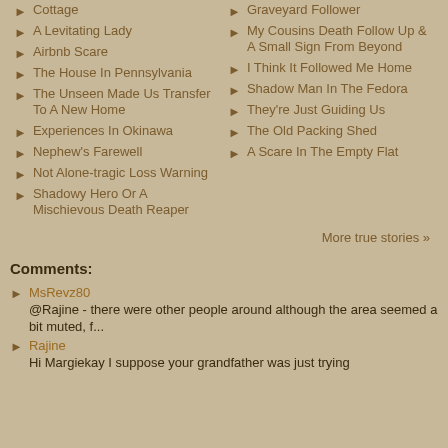Cottage
A Levitating Lady
Airbnb Scare
The House In Pennsylvania
The Unseen Made Us Transfer To A New Home
Experiences In Okinawa
Nephew's Farewell
Not Alone-tragic Loss Warning
Shadowy Hero Or A Mischievous Death Reaper
Graveyard Follower
My Cousins Death Follow Up & A Small Sign From Beyond
I Think It Followed Me Home
Shadow Man In The Fedora
They're Just Guiding Us
The Old Packing Shed
A Scare In The Empty Flat
More true stories »
Comments:
MsRevz80
@Rajine - there were other people around although the area seemed a bit muted, f...
Rajine
Hi Margiekay I suppose your grandfather was just trying